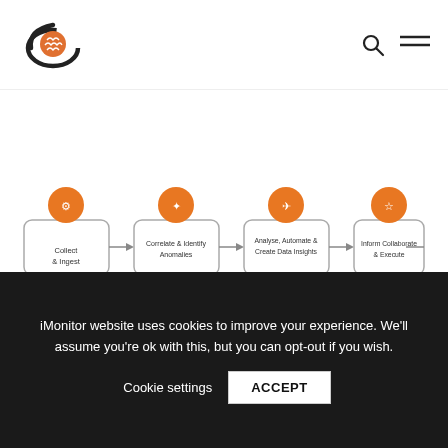iMonitor logo, search icon, menu icon
[Figure (flowchart): Four-step process flowchart with orange circular icons. Steps: 1) Collect & Ingest, 2) Correlate & Identify Anomalies, 3) Analyse, Automate & Create Data Insights, 4) Inform Collaborate & Execute. Bottom banner reads: Collect – Analyse – Create Actionable Insights]
iMonitor website uses cookies to improve your experience. We'll assume you're ok with this, but you can opt-out if you wish.
Cookie settings  ACCEPT